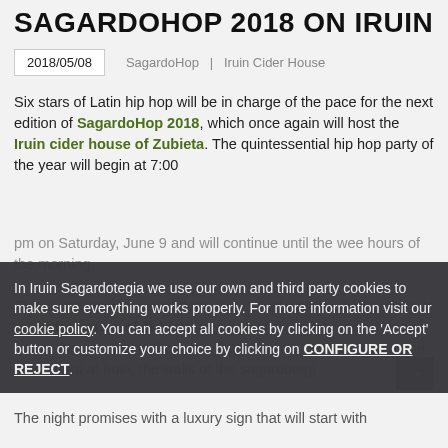SAGARDOHOP 2018 ON IRUIN
2018/05/08   SagardoHop  |  Iruin Cider House
Six stars of Latin hip hop will be in charge of the pace for the next edition of SagardoHop 2018, which once again will host the Iruin cider house of Zubieta. The quintessential hip hop party of the year will begin at 7:00 pm on Saturday, June 9 and will continue until the wee hours of the morning.
In Iruin Sagardotegia we use our own and third party cookies to make sure everything works properly. For more information visit our cookie policy. You can accept all cookies by clicking on the 'Accept' button or customize your choice by clicking on CONFIGURE OR REJECT.
The night promises with a luxury sign that will start with